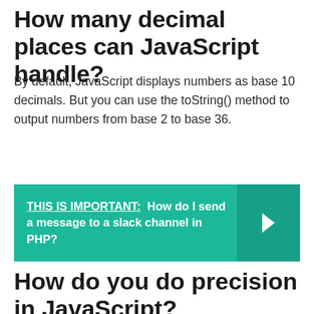How many decimal places can JavaScript handle?
By default, JavaScript displays numbers as base 10 decimals. But you can use the toString() method to output numbers from base 2 to base 36.
THIS IS IMPORTANT: How do I send a message to a slack channel in PHP?
How do you do precision in JavaScript?
In JavaScript, toPrecision() is a Number method that is used to convert a number to a specified precision (rounding the result